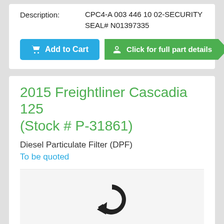Description: CPC4-A 003 446 10 02-SECURITY SEAL# N01397335
[Figure (other): Add to Cart button (blue) and Click for full part details arrow button (green)]
2015 Freightliner Cascadia 125 (Stock # P-31861)
Diesel Particulate Filter (DPF)
To be quoted
[Figure (illustration): Loading spinner icon (circular arrow) on light grey background]